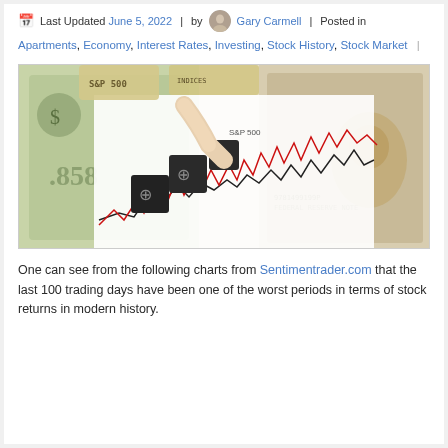Last Updated June 5, 2022 | by Gary Carmell | Posted in Apartments, Economy, Interest Rates, Investing, Stock History, Stock Market |
[Figure (photo): A hand arranging black dice on stock market charts overlaid on US dollar bills, with red and black line graphs visible.]
One can see from the following charts from Sentimentrader.com that the last 100 trading days have been one of the worst periods in terms of stock returns in modern history.